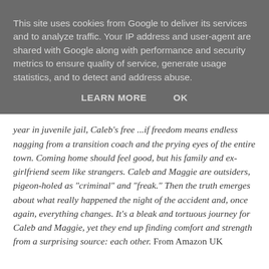This site uses cookies from Google to deliver its services and to analyze traffic. Your IP address and user-agent are shared with Google along with performance and security metrics to ensure quality of service, generate usage statistics, and to detect and address abuse.
LEARN MORE    OK
year in juvenile jail, Caleb's free ...if freedom means endless nagging from a transition coach and the prying eyes of the entire town. Coming home should feel good, but his family and ex-girlfriend seem like strangers. Caleb and Maggie are outsiders, pigeon-holed as "criminal" and "freak." Then the truth emerges about what really happened the night of the accident and, once again, everything changes. It's a bleak and tortuous journey for Caleb and Maggie, yet they end up finding comfort and strength from a surprising source: each other. From Amazon UK